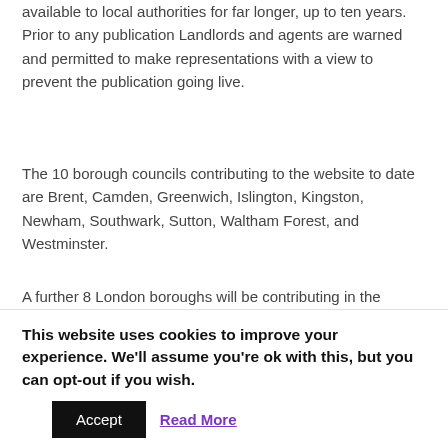available to local authorities for far longer, up to ten years. Prior to any publication Landlords and agents are warned and permitted to make representations with a view to prevent the publication going live.
The 10 borough councils contributing to the website to date are Brent, Camden, Greenwich, Islington, Kingston, Newham, Southwark, Sutton, Waltham Forest, and Westminster.
A further 8 London boroughs will be contributing in the coming weeks, they are Barking and Dagenham, Croydon, Enfield, Hackney, Haringey, Lewisham, Redbridge, and Tower Hamlets. The London Fire Service is also contributing and the three agent redress schemes will also be contributing names of agents they
This website uses cookies to improve your experience. We'll assume you're ok with this, but you can opt-out if you wish.
Accept | Read More